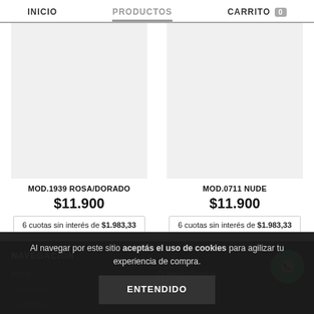INICIO  PRODUCTOS  CARRITO 0
[Figure (photo): Product image placeholder for MOD.1939 ROSA/DORADO - light gray rectangle]
MOD.1939 ROSA/DORADO
$11.900
6 cuotas sin interés de $1.983,33
[Figure (photo): Product image placeholder for MOD.0711 NUDE - light gray rectangle]
MOD.0711 NUDE
$11.900
6 cuotas sin interés de $1.983,33
NAVEGACIÓN
Inicio
Quiénes Somos
Productos
Empresas
Contacto
Al navegar por este sitio aceptás el uso de cookies para agilizar tu experiencia de compra.
ENTENDIDO